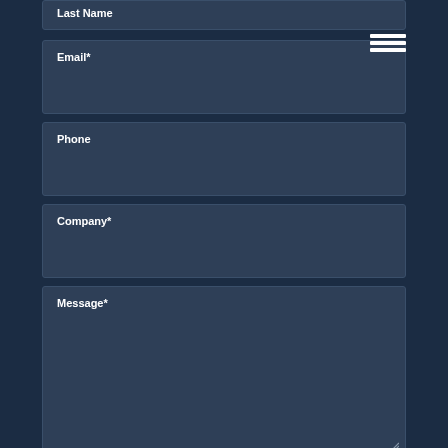Last Name
Email*
Phone
Company*
Message*
I want to receive updates on products, contests and more
I am an existing customer